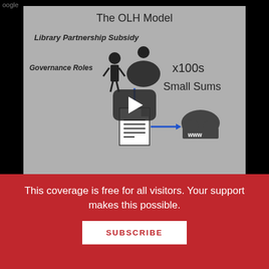[Figure (screenshot): Screenshot of a YouTube-style video player showing 'The OLH Model' diagram with library partnership subsidy, governance roles, figures of librarians, x100s small sums text, document icon with blue arrow pointing to www cloud icon. A play button overlay is visible in the center.]
See Also: Open Library of Humanities Obtains Formal Charitable Status (September 4, 2015)
This coverage is free for all visitors. Your support makes this possible.
SUBSCRIBE